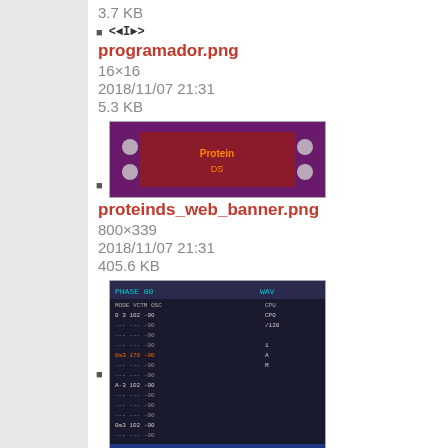3.7 KB
programador.png
16×16
2018/11/07 21:31
5.3 KB
[Figure (screenshot): Thumbnail of proteinds_web_banner.png showing a dark red/purple image with 'Protein DS' text]
proteinds_web_banner.png
800×339
2018/11/07 21:31
405.6 KB
[Figure (screenshot): Thumbnail of rewuiowuirio.png showing a phase 00 WAV screen with monospace data grid]
rewuiowuirio.png
160×144
2018/11/07 21:31
2.4 KB
[Figure (screenshot): Bottom partial thumbnail showing PHASE 02 screen]